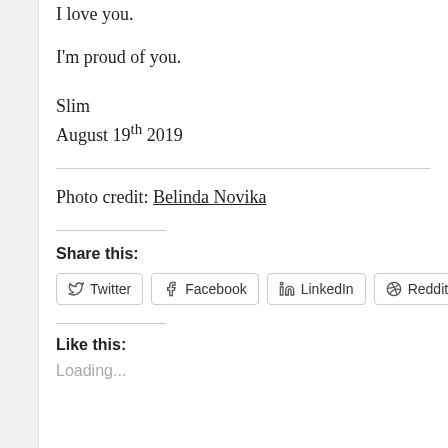I love you.
I'm proud of you.
Slim
August 19th 2019
Photo credit: Belinda Novika
Share this:
Twitter Facebook LinkedIn Reddit Pocket
Like this:
Loading...